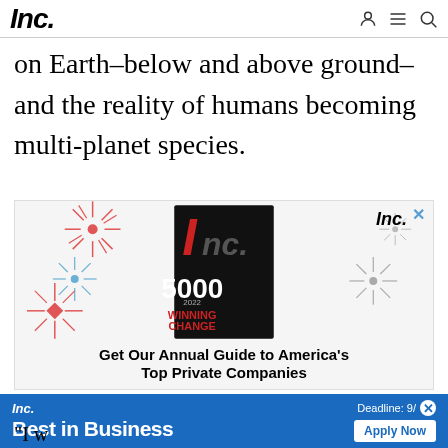Inc.
on Earth–below and above ground–and the reality of humans becoming multi-planet species.
[Figure (illustration): Inc. magazine advertisement showing the Inc. 5000 2022 issue cover with 'WINNING CHANGE' text and decorative starburst patterns in red, blue, and gray. Text reads 'Get Our Annual Guide to America's Top Private Companies']
[Figure (illustration): Blue banner advertisement for Inc. Best in Business with 'Deadline: 9/' and 'Apply Now' button]
"I w